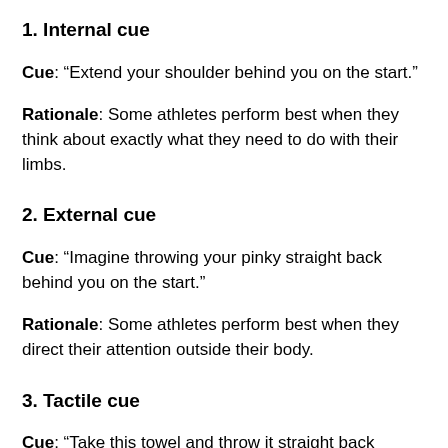1. Internal cue
Cue: “Extend your shoulder behind you on the start.”
Rationale: Some athletes perform best when they think about exactly what they need to do with their limbs.
2. External cue
Cue: “Imagine throwing your pinky straight back behind you on the start.”
Rationale: Some athletes perform best when they direct their attention outside their body.
3. Tactile cue
Cue: “Take this towel and throw it straight back behind you on the start.”
Rationale: Some athletes perform best when they’re able to